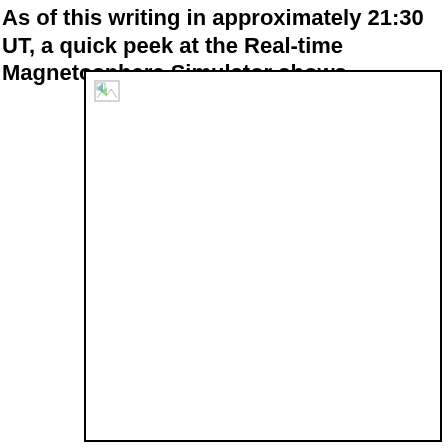As of this writing in approximately 21:30 UT, a quick peek at the Real-time Magnetosphere Simulator shows
[Figure (other): A broken/unloaded image placeholder inside a black-bordered rectangular frame. The image failed to load and shows only a small broken image icon in the top-left corner of the frame.]